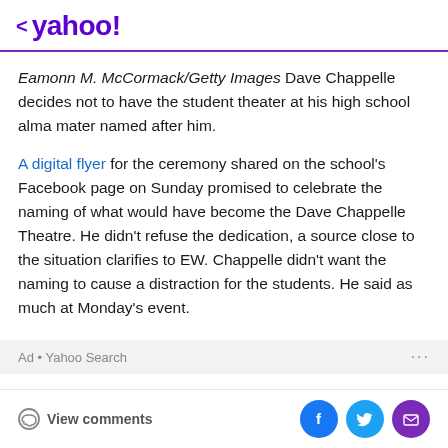< yahoo!
Eamonn M. McCormack/Getty Images Dave Chappelle decides not to have the student theater at his high school alma mater named after him.
A digital flyer for the ceremony shared on the school's Facebook page on Sunday promised to celebrate the naming of what would have become the Dave Chappelle Theatre. He didn't refuse the dedication, a source close to the situation clarifies to EW. Chappelle didn't want the naming to cause a distraction for the students. He said as much at Monday's event.
Ad • Yahoo Search
View comments